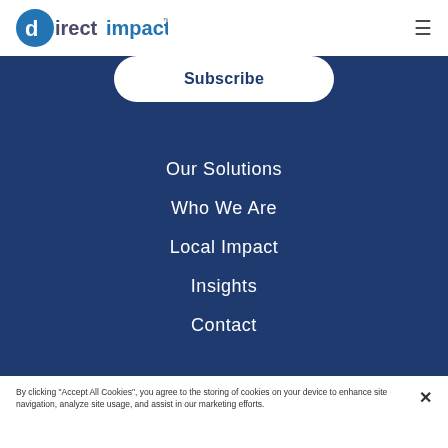directimpact™
Subscribe
Our Solutions
Who We Are
Local Impact
Insights
Contact
By clicking "Accept All Cookies", you agree to the storing of cookies on your device to enhance site navigation, analyze site usage, and assist in our marketing efforts.